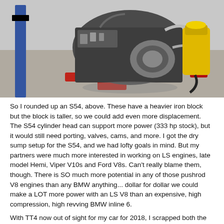[Figure (photo): An engine (S54) on a red engine stand in a workshop/garage setting. The engine is bare/disassembled with various hoses and components visible. A blue lift is visible on the left, a red gas can and yellow shop vac on the right.]
So I rounded up an S54, above. These have a heavier iron block but the block is taller, so we could add even more displacement. The S54 cylinder head can support more power (333 hp stock), but it would still need porting, valves, cams, and more. I got the dry sump setup for the S54, and we had lofty goals in mind. But my partners were much more interested in working on LS engines, late model Hemi, Viper V10s and Ford V8s. Can't really blame them, though. There is SO much more potential in any of those pushrod V8 engines than any BMW anything... dollar for dollar we could make a LOT more power with an LS V8 than an expensive, high compression, high revving BMW inline 6.
With TT4 now out of sight for my car for 2018, I scrapped both the M54 and S54 stroker engine projects for now.
NEW PAINT FOR 2018 SEASON